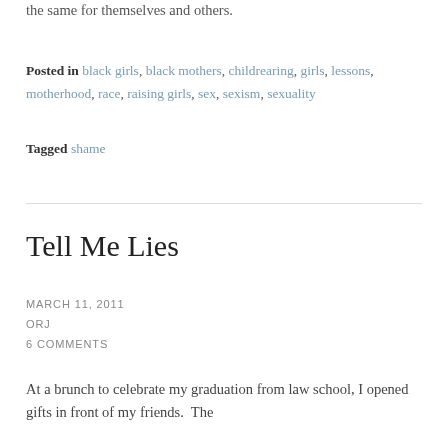the same for themselves and others.
Posted in black girls, black mothers, childrearing, girls, lessons, motherhood, race, raising girls, sex, sexism, sexuality
Tagged shame
Tell Me Lies
MARCH 11, 2011
ORJ
6 COMMENTS
At a brunch to celebrate my graduation from law school, I opened gifts in front of my friends.  The